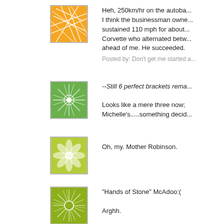[Figure (illustration): Orange avatar with white geometric line pattern]
Heh, 250km/hr on the autoba... I think the businessman owne... sustained 110 mph for about... Corvette who alternated betw... ahead of me. He succeeded.
Posted by: Don't get me started a...
[Figure (illustration): Green avatar with white starburst/flower pattern]
--Still 6 perfect brackets rema...

Looks like a mere three now; Michelle's.....something decid...
[Figure (illustration): Yellow-green avatar with flower/petal pattern]
Oh, my. Mother Robinson.
[Figure (illustration): Yellow-green avatar with sunburst pattern and center circle]
"Hands of Stone" McAdoo:(

Arghh.